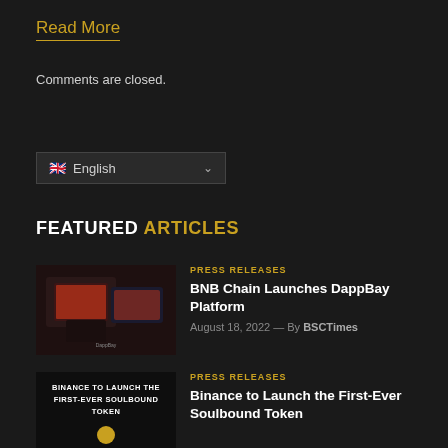Read More
Comments are closed.
🇬🇧 English
FEATURED ARTICLES
[Figure (photo): Dark themed image of BNB Chain DappBay platform on mobile devices]
PRESS RELEASES
BNB Chain Launches DappBay Platform
August 18, 2022 — By BSCTimes
[Figure (photo): Dark image with text: BINANCE TO LAUNCH THE FIRST-EVER SOULBOUND TOKEN]
PRESS RELEASES
Binance to Launch the First-Ever Soulbound Token